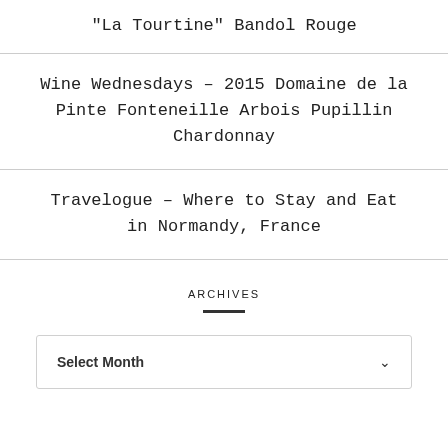“La Tourtine” Bandol Rouge
Wine Wednesdays – 2015 Domaine de la Pinte Fonteneille Arbois Pupillin Chardonnay
Travelogue – Where to Stay and Eat in Normandy, France
ARCHIVES
Select Month